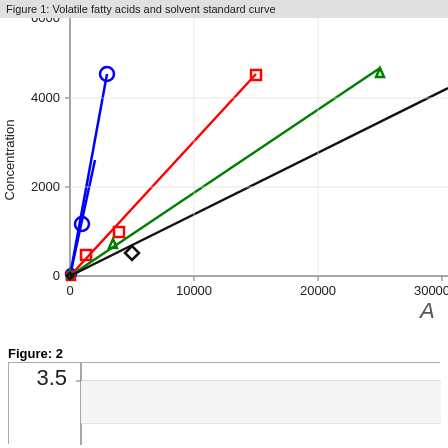[Figure (scatter-plot): Scatter plot with 4 linear calibration curves (blue circle, red square, green triangle, black diamond markers) showing concentration vs area for volatile fatty acids and solvent standards. Y-axis: 0 to 6000+. X-axis: 0 to 30000+.]
Figure 1: Volatile fatty acids and solvent standard curve
Figure: 2
[Figure (line-chart): Partial view of Figure 2, showing y-axis value 3.5 at the top.]